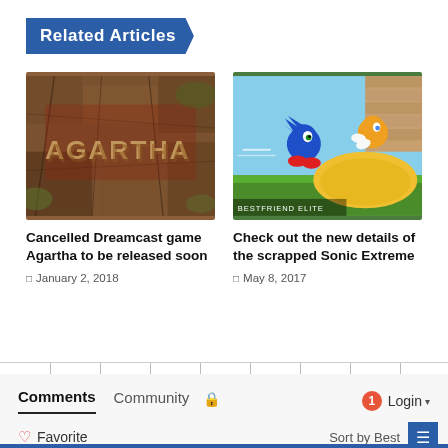Related Articles
[Figure (photo): Cancelled Dreamcast game Agartha promotional image with stone texture and stylized text 'AGARTHA']
Cancelled Dreamcast game Agartha to be released soon
January 2, 2018
[Figure (photo): Sonic the Hedgehog characters in a skateboarding game, showing Sonic and Tails with a skate ramp]
Check out the new details of the scrapped Sonic Extreme
May 8, 2017
Comments  Community  Login  Favorite  Sort by Best  Join the discussion...